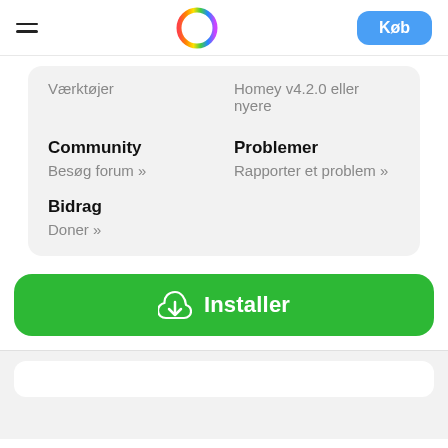Homey app page header with hamburger menu, Homey logo, and Køb button
Værktøjer
Homey v4.2.0 eller nyere
Community
Besøg forum »
Problemer
Rapporter et problem »
Bidrag
Doner »
[Figure (other): Green Installer button with cloud download icon and white text 'Installer']
[Figure (other): Bottom section with a white card on grey background]